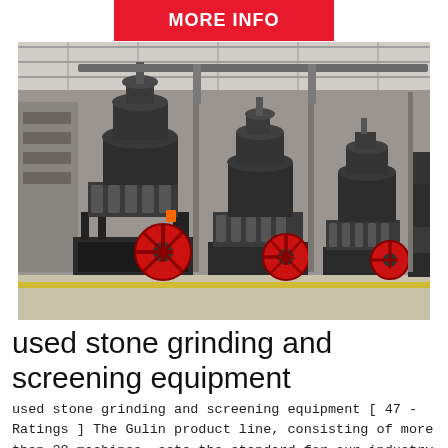MORE INFO
[Figure (photo): Row of large industrial cone crushers with red flywheels inside a factory/warehouse, black heavy machinery lined up on a production floor]
used stone grinding and screening equipment
used stone grinding and screening equipment [ 47 - Ratings ] The Gulin product line, consisting of more than 30 machines, sets the standard for our industry